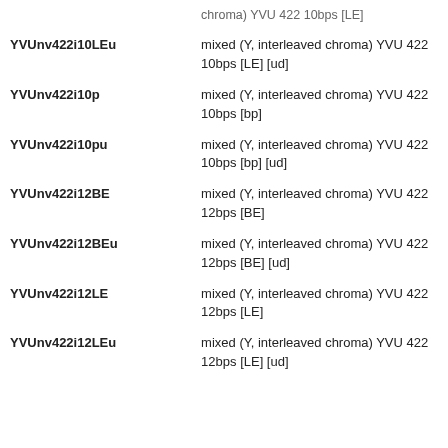YVUnv422i10LEu — mixed (Y, interleaved chroma) YVU 422 10bps [LE] [ud]
YVUnv422i10p — mixed (Y, interleaved chroma) YVU 422 10bps [bp]
YVUnv422i10pu — mixed (Y, interleaved chroma) YVU 422 10bps [bp] [ud]
YVUnv422i12BE — mixed (Y, interleaved chroma) YVU 422 12bps [BE]
YVUnv422i12BEu — mixed (Y, interleaved chroma) YVU 422 12bps [BE] [ud]
YVUnv422i12LE — mixed (Y, interleaved chroma) YVU 422 12bps [LE]
YVUnv422i12LEu — mixed (Y, interleaved chroma) YVU 422 12bps [LE] [ud]